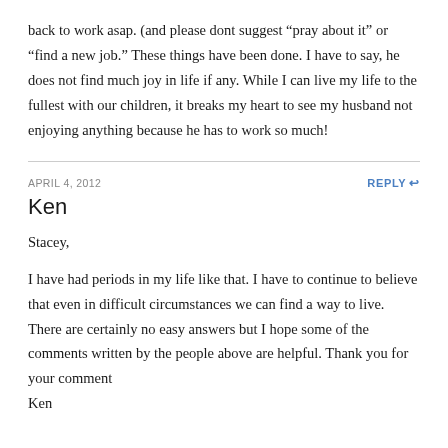back to work asap. (and please dont suggest “pray about it” or “find a new job.” These things have been done. I have to say, he does not find much joy in life if any. While I can live my life to the fullest with our children, it breaks my heart to see my husband not enjoying anything because he has to work so much!
APRIL 4, 2012
REPLY
Ken
Stacey,
I have had periods in my life like that. I have to continue to believe that even in difficult circumstances we can find a way to live. There are certainly no easy answers but I hope some of the comments written by the people above are helpful. Thank you for your comment
Ken